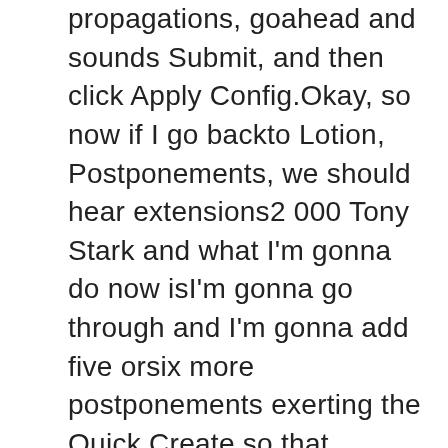propagations, goahead and sounds Submit, and then click Apply Config.Okay, so now if I go backto Lotion, Postponements, we should hear extensions2 000 Tony Stark and what I'm gonna do now isI'm gonna go through and I'm gonna add five orsix more postponements exerting the Quick Create so that wehave a number of propagations that we can play with movingforward into the next videos. Okay, so the next videothat we're gonna do, we're gonna talk about actuallyconnecting phones, okay, so we have the extension andthen we have the physical maneuver which is a separatething and we're gonna set up some Sangoma phonesusing the EndPoint Manager and then we're too gonnaset up some telephones manually without exploiting